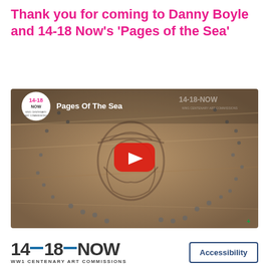Thank you for coming to Danny Boyle and 14-18 Now's 'Pages of the Sea'
[Figure (screenshot): YouTube video thumbnail for '14-18 NOW Pages Of The Sea' showing aerial view of sand art portrait on a beach with crowds of people around it, with a YouTube play button overlay]
[Figure (logo): 14-18 NOW WW1 CENTENARY ART COMMISSIONS logo with blue dashes between numbers, and an Accessibility button]